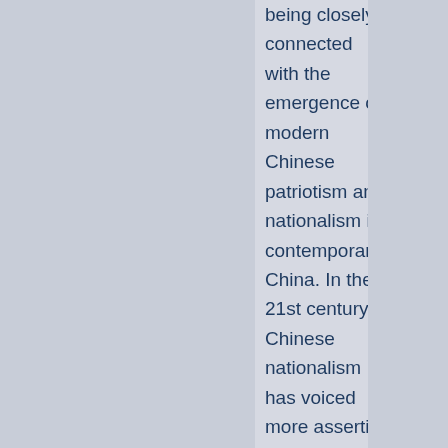being closely connected with the emergence of modern Chinese patriotism and nationalism in contemporary China. In the 21st century, Chinese nationalism has voiced more assertive overtones with a tendency to glorify Chinese imperial history. What is more,